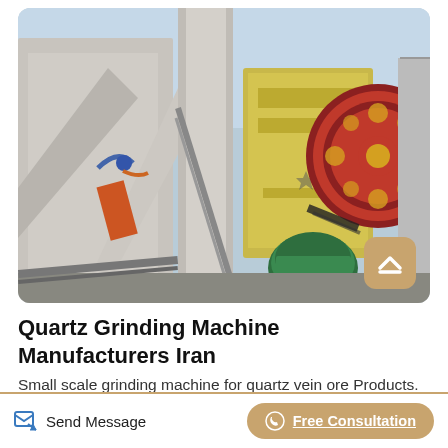[Figure (photo): Industrial quartz grinding/jaw crusher machine photographed from a low angle, showing large red flywheel, yellow machine body, green motor, concrete structure, and blue wiring. Heavy mining/crushing equipment at a facility.]
Quartz Grinding Machine Manufacturers Iran
Small scale grinding machine for quartz vein ore Products. As a leading global manufacturer of crushing, grinding and mining equipments, we
Send Message
Free Consultation